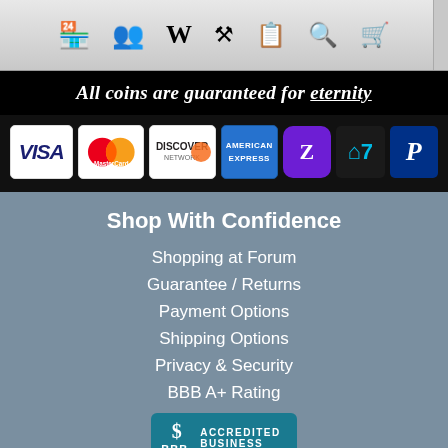[Figure (screenshot): Navigation toolbar with icons: store, group, Wikipedia W, hammer, document, search, cart]
All coins are guaranteed for eternity
[Figure (infographic): Payment method logos: VISA, MasterCard, Discover, American Express, Zelle, Wise (7), PayPal]
Shop With Confidence
Shopping at Forum
Guarantee / Returns
Payment Options
Shipping Options
Privacy & Security
BBB A+ Rating
[Figure (logo): BBB Accredited Business badge with teal background]
5 Star Reviews
★★★★★